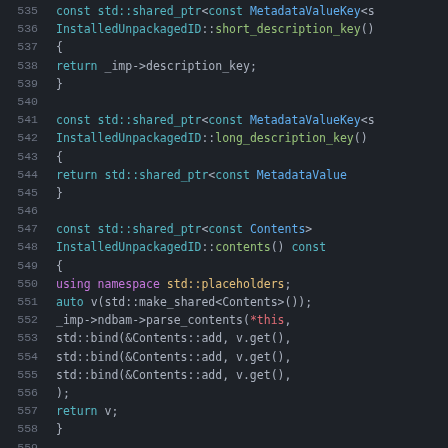[Figure (screenshot): Source code editor screenshot showing C++ code for InstalledUnpackagedID class methods (short_description_key, long_description_key, contents, installed_time_key), lines 535-562, dark theme with syntax highlighting.]